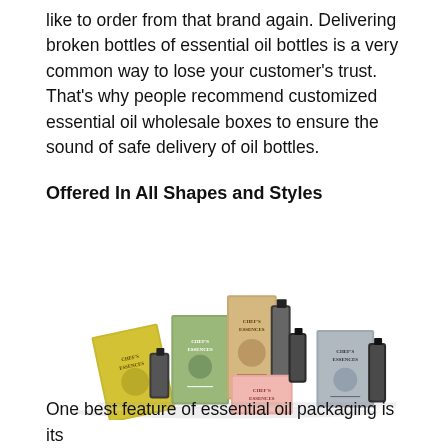like to order from that brand again. Delivering broken bottles of essential oil bottles is a very common way to lose your customer's trust. That's why people recommend customized essential oil wholesale boxes to ensure the sound of safe delivery of oil bottles.
Offered In All Shapes and Styles
[Figure (photo): Collection of Chef's Essences essential oil bottles and packaging boxes in various colors including yellow, green, pink, and gray, arranged together]
One best feature of essential oil packaging is its